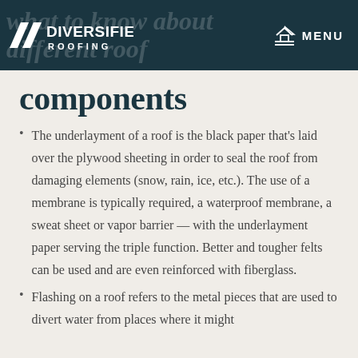Diversified Roofing — MENU
components
The underlayment of a roof is the black paper that's laid over the plywood sheeting in order to seal the roof from damaging elements (snow, rain, ice, etc.). The use of a membrane is typically required, a waterproof membrane, a sweat sheet or vapor barrier — with the underlayment paper serving the triple function. Better and tougher felts can be used and are even reinforced with fiberglass.
Flashing on a roof refers to the metal pieces that are used to divert water from places where it might